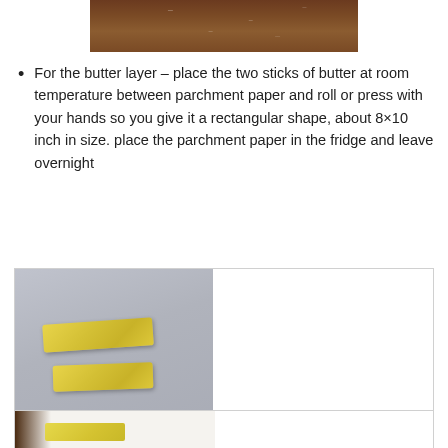[Figure (photo): Partial view of a wooden surface with crumbs/flour, cropped at top of page]
For the butter layer – place the two sticks of butter at room temperature between parchment paper and roll or press with your hands so you give it a rectangular shape, about 8×10 inch in size. place the parchment paper in the fridge and leave overnight
[Figure (photo): Two butter sticks at room temperature on a gray surface]
2 Butter Sticks – Room Temperature
[Figure (photo): Butter flattened between parchment paper, partial view]